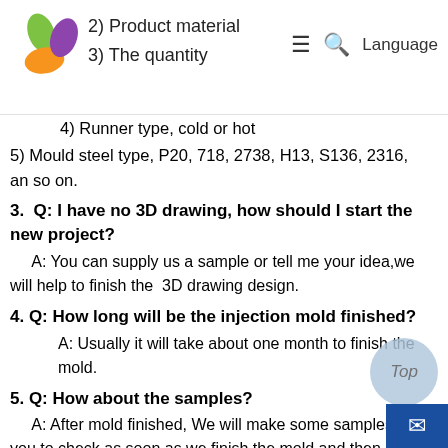2) Product material
3) The quantity
4) Runner type, cold or hot
5) Mould steel type, P20, 718, 2738, H13, S136, 2316, an so on.
3.  Q: I have no 3D drawing, how should I start the new project?
A: You can supply us a sample or tell me your idea,we will help to finish the  3D drawing design.
4. Q: How long will be the injection mold finished?
A: Usually it will take about one month to finish the mold.
5. Q: How about the samples?
A: After mold finished, We will make some samples for you to check as soon as we finish the mold and then deliver the samples for you to check.
6. Q: How about the mould modify?
A: You can tell us your comment about the samples after receive them.If there is any dimension different from the drawing will modify the mold for free in our side and then make the new